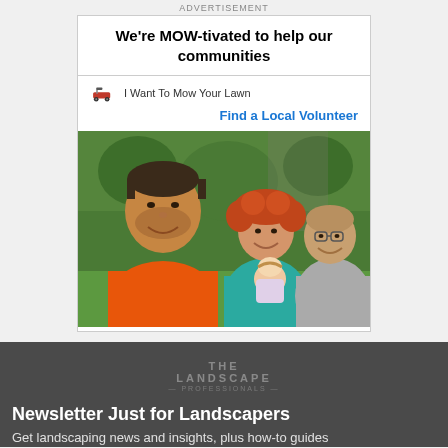ADVERTISEMENT
We're MOW-tivated to help our communities
I Want To Mow Your Lawn
Find a Local Volunteer
[Figure (photo): Group selfie photo of four people outdoors on a lawn: man in orange shirt in foreground, woman in teal shirt holding a baby, and an older man in gray shirt, all smiling]
[Figure (logo): The Landscape logo watermark in muted text on dark gray background]
Newsletter Just for Landscapers
Get landscaping news and insights, plus how-to guides